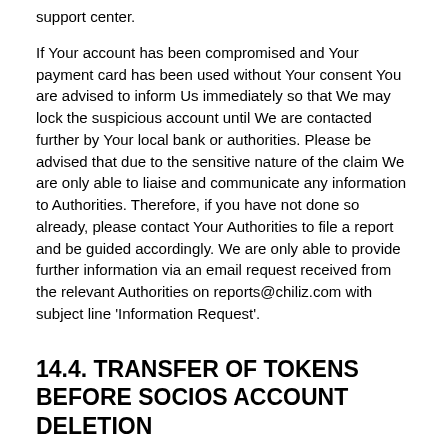support center.
If Your account has been compromised and Your payment card has been used without Your consent You are advised to inform Us immediately so that We may lock the suspicious account until We are contacted further by Your local bank or authorities. Please be advised that due to the sensitive nature of the claim We are only able to liaise and communicate any information to Authorities. Therefore, if you have not done so already, please contact Your Authorities to file a report and be guided accordingly. We are only able to provide further information via an email request received from the relevant Authorities on reports@chiliz.com with subject line 'Information Request'.
14.4. TRANSFER OF TOKENS BEFORE SOCIOS ACCOUNT DELETION
If Your Socios Account is terminated You will be permitted